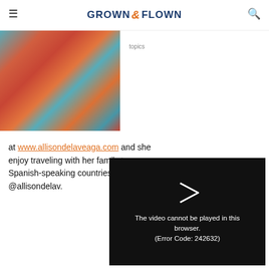GROWN & FLOWN
[Figure (photo): Partial photo of a woman wearing a colorful patterned top (red, teal, zigzag design)]
topics
at www.allisondelaveaga.com and she enjoy traveling with her family to Spanish-speaking countries whenever @allisondelav.
[Figure (screenshot): Black video player overlay showing a play icon and the error message: The video cannot be played in this browser. (Error Code: 242632)]